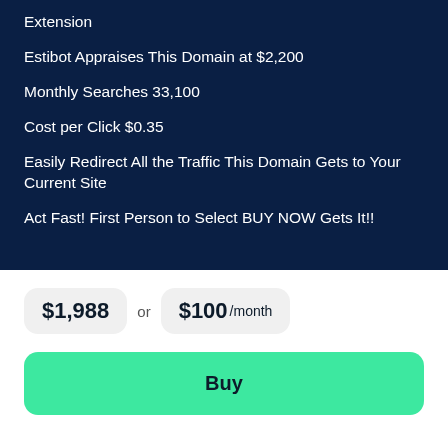Extension
Estibot Appraises This Domain at $2,200
Monthly Searches 33,100
Cost per Click $0.35
Easily Redirect All the Traffic This Domain Gets to Your Current Site
Act Fast! First Person to Select BUY NOW Gets It!!
$1,988 or $100 /month
Buy